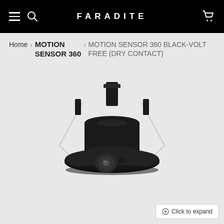FARADITE
Home › MOTION SENSOR 360 › MOTION SENSOR 360 BLACK-VOLT FREE (DRY CONTACT)
[Figure (photo): A black circular recessed motion sensor (360 degree) with a spring wire mounting bracket. The sensor has a wide flat disc shape with a central lens, and metal mounting clips at the top. The product is shown on a light grey background.]
Click to expand